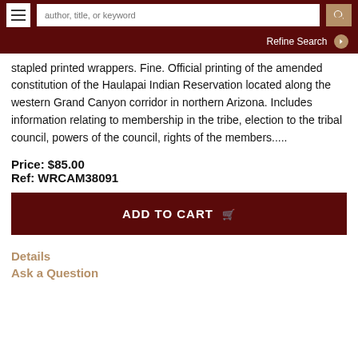author, title, or keyword | Refine Search
stapled printed wrappers. Fine. Official printing of the amended constitution of the Haulapai Indian Reservation located along the western Grand Canyon corridor in northern Arizona. Includes information relating to membership in the tribe, election to the tribal council, powers of the council, rights of the members.....
Price: $85.00
Ref: WRCAM38091
ADD TO CART
Details
Ask a Question